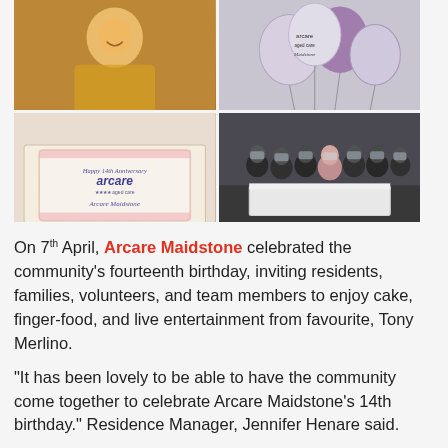[Figure (photo): Collage of four photos: top-left shows a smiling woman in a yellow outfit clapping; top-right shows purple and silver balloons with Arcare Maidstone branding; bottom-left shows an Arcare Maidstone 14th anniversary celebration cake; bottom-right shows a group of staff members wearing face shields and masks standing around a table with a white tablecloth.]
On 7th April, Arcare Maidstone celebrated the community's fourteenth birthday, inviting residents, families, volunteers, and team members to enjoy cake, finger-food, and live entertainment from favourite, Tony Merlino.
“It has been lovely to be able to have the community come together to celebrate Arcare Maidstone’s 14th birthday.” Residence Manager, Jennifer Henare said.